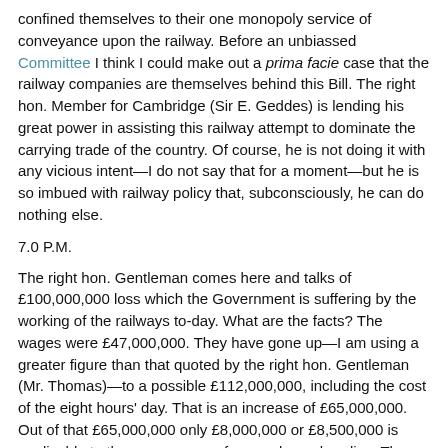confined themselves to their one monopoly service of conveyance upon the railway. Before an unbiassed Committee I think I could make out a prima facie case that the railway companies are themselves behind this Bill. The right hon. Member for Cambridge (Sir E. Geddes) is lending his great power in assisting this railway attempt to dominate the carrying trade of the country. Of course, he is not doing it with any vicious intent—I do not say that for a moment—but he is so imbued with railway policy that, subconsciously, he can do nothing else.
7.0 P.M.
The right hon. Gentleman comes here and talks of £100,000,000 loss which the Government is suffering by the working of the railways to-day. What are the facts? The wages were £47,000,000. They have gone up—I am using a greater figure than that quoted by the right hon. Gentleman (Mr. Thomas)—to a possible £112,000,000, including the cost of the eight hours' day. That is an increase of £65,000,000. Out of that £65,000,000 only £8,000,000 or £8,500,000 is applicable to the conveyance of general merchandise. The whole figure of £112,000,000 includes no end of wages and services which have nothing whatever to do with the conveyance of traffic by railway at all. No one who has any knowledge of the circumstances will dispute the fact that half of the £112,000,000 has nothing whatever to do with the conveyance of traffic. The £8,500,000 could readily be absorbed without any increase in the rates as now